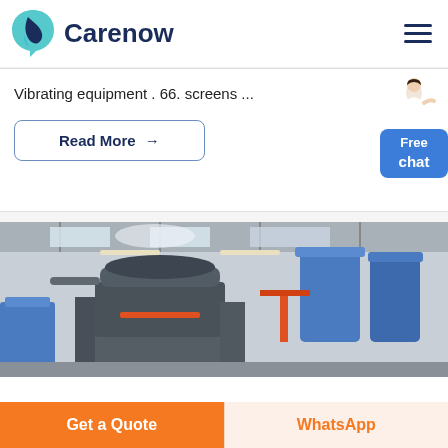Carenow
Vibrating equipment . 66. screens ...
Read More →
[Figure (photo): Industrial machinery in a factory setting — a large grey cone crusher or similar heavy equipment in the foreground, with blue tanks and overhead lighting visible in the background.]
Get a Quote
WhatsApp